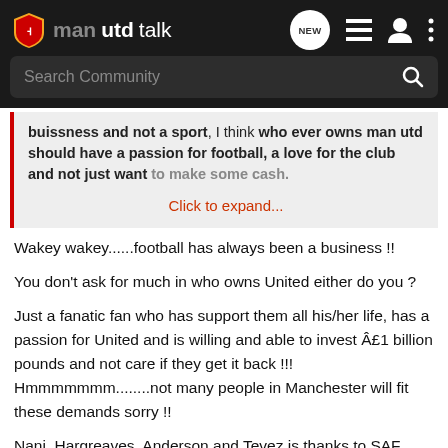manutdtalk — navigation header with search bar
buissness and not a sport, I think who ever owns man utd should have a passion for football, a love for the club and not just want to make some cash.
Click to expand...
Wakey wakey......football has always been a business !!
You don't ask for much in who owns United either do you ?
Just a fanatic fan who has support them all his/her life, has a passion for United and is willing and able to invest £1 billion pounds and not care if they get it back !!! Hmmmmmmm........not many people in Manchester will fit these demands sorry !!
Nani, Hargreaves, Anderson and Tevez is thanks to SAF ????